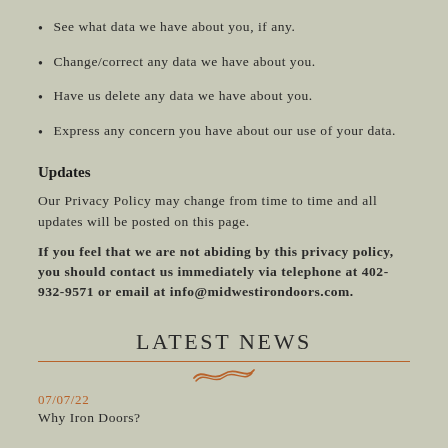See what data we have about you, if any.
Change/correct any data we have about you.
Have us delete any data we have about you.
Express any concern you have about our use of your data.
Updates
Our Privacy Policy may change from time to time and all updates will be posted on this page.
If you feel that we are not abiding by this privacy policy, you should contact us immediately via telephone at 402-932-9571 or email at info@midwestirondoors.com.
LATEST NEWS
07/07/22
Why Iron Doors?